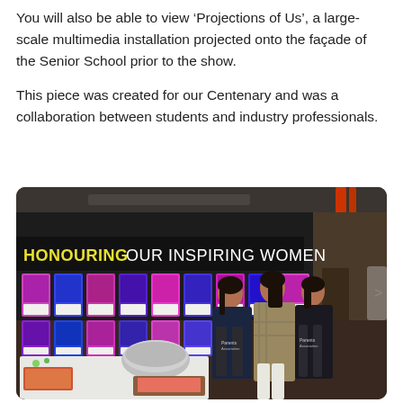You will also be able to view 'Projections of Us', a large-scale multimedia installation projected onto the façade of the Senior School prior to the show.
This piece was created for our Centenary and was a collaboration between students and industry professionals.
[Figure (photo): Indoor event photo showing three women standing together in front of a dark wall displaying 'HONOURING OUR INSPIRING WOMEN' banner with colorful art cards arranged in a grid. A table in the foreground has food including charcuterie, a large silver bowl with ice, and other dishes. The women are wearing dark aprons.]